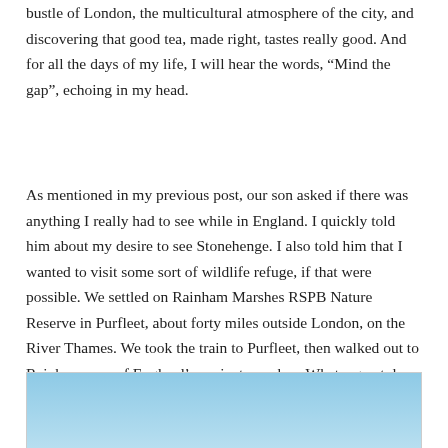bustle of London, the multicultural atmosphere of the city, and discovering that good tea, made right, tastes really good. And for all the days of my life, I will hear the words, “Mind the gap”, echoing in my head.
As mentioned in my previous post, our son asked if there was anything I really had to see while in England. I quickly told him about my desire to see Stonehenge. I also told him that I wanted to visit some sort of wildlife refuge, if that were possible. We settled on Rainham Marshes RSPB Nature Reserve in Purfleet, about forty miles outside London, on the River Thames. We took the train to Purfleet, then walked out to Rainham, one of England’s ancient marshes. What a great day that was!
[Figure (photo): A photograph showing what appears to be a milk bottle or similar glass container against a light blue sky background, with other dark silhouette shapes visible.]